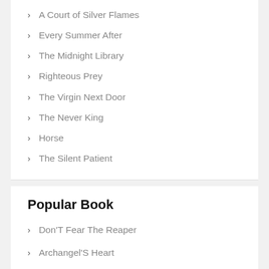A Court of Silver Flames
Every Summer After
The Midnight Library
Righteous Prey
The Virgin Next Door
The Never King
Horse
The Silent Patient
Popular Book
Don'T Fear The Reaper
Archangel'S Heart
Repo Madness